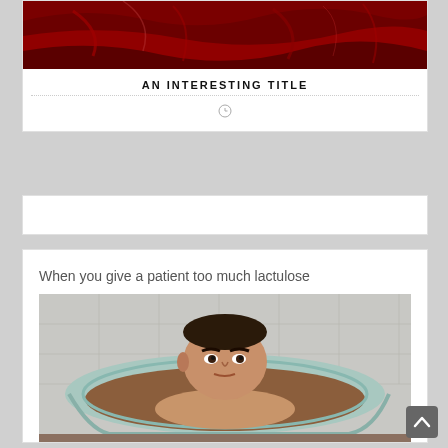[Figure (photo): Dark red fabric or cloth image at top of card]
AN INTERESTING TITLE
(clock/time icon)
[Figure (photo): Blank white card in the middle]
When you give a patient too much lactulose
[Figure (photo): Photo of a man sitting in a bathtub filled with brown liquid, looking at the camera. Bathtub is light blue/teal. Tiled wall behind.]